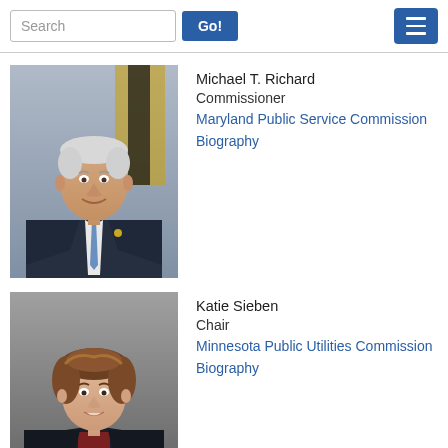Search | Go! | [Menu]
[Figure (photo): Headshot of Michael T. Richard, middle-aged man in dark suit with blue tie, standing in front of a flag]
Michael T. Richard
Commissioner
Maryland Public Service Commission
Biography
[Figure (photo): Headshot of Katie Sieben, woman with brown hair, smiling, wearing dark jacket]
Katie Sieben
Chair
Minnesota Public Utilities Commission
Biography